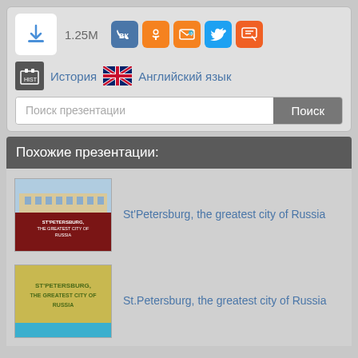1.25M
История  Английский язык
Поиск презентации  Поиск
Похожие презентации:
St'Petersburg, the greatest city of Russia
St.Petersburg, the greatest city of Russia